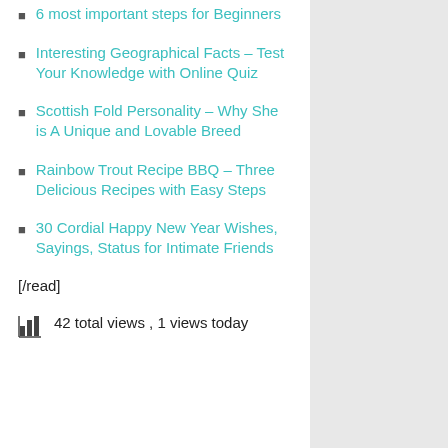6 most important steps for Beginners
Interesting Geographical Facts – Test Your Knowledge with Online Quiz
Scottish Fold Personality – Why She is A Unique and Lovable Breed
Rainbow Trout Recipe BBQ – Three Delicious Recipes with Easy Steps
30 Cordial Happy New Year Wishes, Sayings, Status for Intimate Friends
[/read]
42 total views , 1 views today